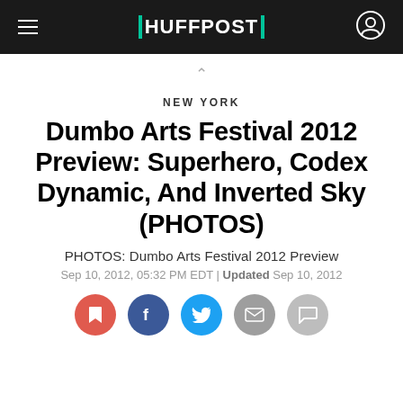HUFFPOST
NEW YORK
Dumbo Arts Festival 2012 Preview: Superhero, Codex Dynamic, And Inverted Sky (PHOTOS)
PHOTOS: Dumbo Arts Festival 2012 Preview
Sep 10, 2012, 05:32 PM EDT | Updated Sep 10, 2012
[Figure (infographic): Social share icons: bookmark (red), Facebook (blue), Twitter (light blue), email (gray), comment (light gray)]